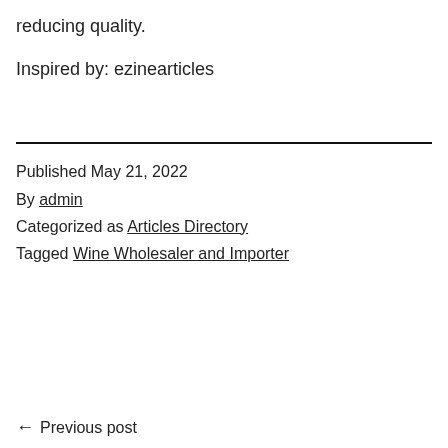reducing quality.
Inspired by: ezinearticles
Published May 21, 2022
By admin
Categorized as Articles Directory
Tagged Wine Wholesaler and Importer
← Previous post